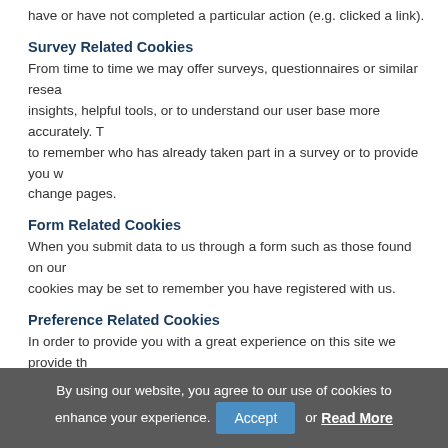have or have not completed a particular action (e.g. clicked a link).
Survey Related Cookies
From time to time we may offer surveys, questionnaires or similar research insights, helpful tools, or to understand our user base more accurately. These cookies are used to remember who has already taken part in a survey or to provide you with results that change pages.
Form Related Cookies
When you submit data to us through a form such as those found on our cookies may be set to remember you have registered with us.
Preference Related Cookies
In order to provide you with a great experience on this site we provide the bar' message which is displayed. Should you choose to hide this message
Back to Top
3. Third Parties
By using our website, you agree to our use of cookies to enhance your experience. Accept or Read More